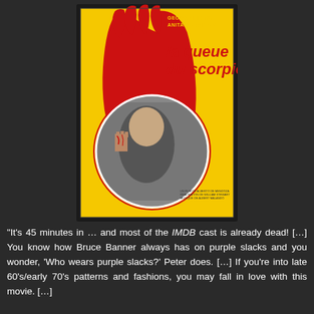[Figure (photo): Movie poster for 'la queue du scorpion' featuring yellow background with large red hand silhouette and circular inset photo of a woman screaming with bloody hands. Text at top reads 'GEORGE HILTON ANITA STRINBERG'. Title text in large red letters reads 'la queue du scorpion'.]
"It's 45 minutes in … and most of the IMDB cast is already dead! […] You know how Bruce Banner always has on purple slacks and you wonder, 'Who wears purple slacks?' Peter does. […] If you're into late 60's/early 70's patterns and fashions, you may fall in love with this movie. […]